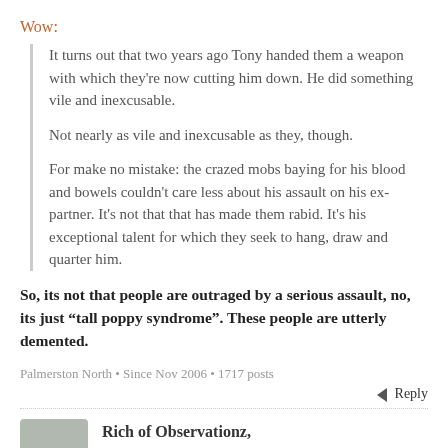Wow:
It turns out that two years ago Tony handed them a weapon with which they're now cutting him down. He did something vile and inexcusable.
Not nearly as vile and inexcusable as they, though.
For make no mistake: the crazed mobs baying for his blood and bowels couldn't care less about his assault on his ex-partner. It's not that that has made them rabid. It's his exceptional talent for which they seek to hang, draw and quarter him.
So, its not that people are outraged by a serious assault, no, its just “tall poppy syndrome”. These people are utterly demented.
Palmerston North • Since Nov 2006 • 1717 posts
Reply
Rich of Observationz,
14 years ago ∞